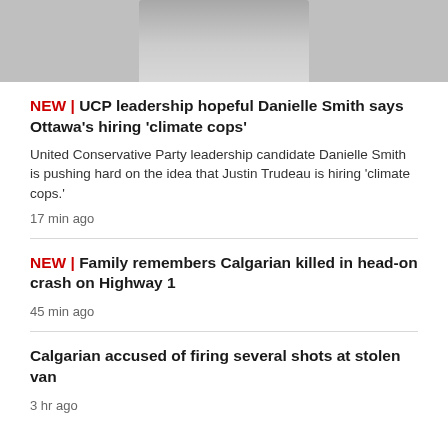[Figure (photo): Partial photo of a woman in a grey blazer, cropped at top of image]
NEW | UCP leadership hopeful Danielle Smith says Ottawa's hiring 'climate cops'
United Conservative Party leadership candidate Danielle Smith is pushing hard on the idea that Justin Trudeau is hiring 'climate cops.'
17 min ago
NEW | Family remembers Calgarian killed in head-on crash on Highway 1
45 min ago
Calgarian accused of firing several shots at stolen van
3 hr ago